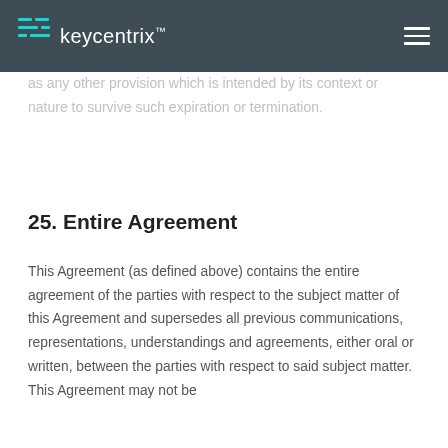keycentrix
as any other provision which is intended by its context or nature to survive such expiration or termination.
25. Entire Agreement
This Agreement (as defined above) contains the entire agreement of the parties with respect to the subject matter of this Agreement and supersedes all previous communications, representations, understandings and agreements, either oral or written, between the parties with respect to said subject matter. This Agreement may not be